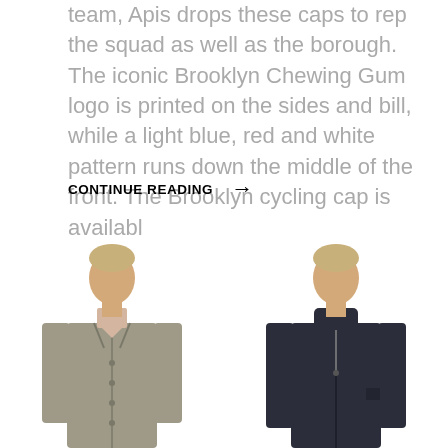team, Apis drops these caps to rep the squad as well as the borough. The iconic Brooklyn Chewing Gum logo is printed on the sides and bill, while a light blue, red and white pattern runs down the middle of the front. The Brooklyn cycling cap is availabl
CONTINUE READING →
[Figure (photo): Two male models side by side. Left model wears a long olive/khaki trench coat with buttons, standing against white background. Right model wears a long dark navy coat with high collar, standing against white background.]